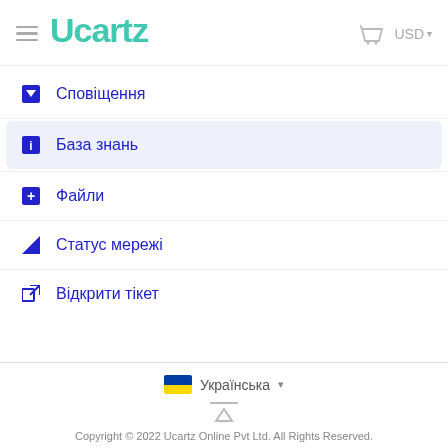Ucartz — USD
Сповіщення
База знань
Файли
Статус мережі
Відкрити тікет
Українська ▾
Copyright © 2022 Ucartz Online Pvt Ltd. All Rights Reserved.